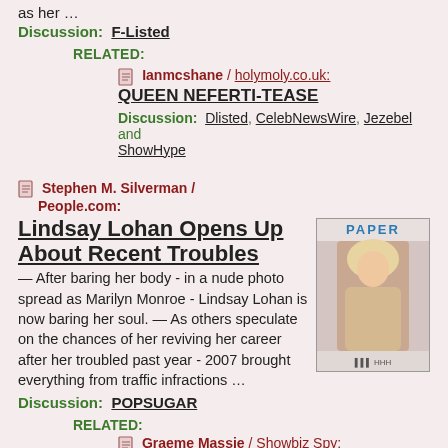as her …
Discussion: F-Listed
RELATED:
Ianmcshane / holymoly.co.uk: QUEEN NEFERTI-TEASE
Discussion: Dlisted, CelebNewsWire, Jezebel and ShowHype
Stephen M. Silverman / People.com:
Lindsay Lohan Opens Up About Recent Troubles
[Figure (photo): Magazine cover of Paper magazine featuring a blonde woman]
— After baring her body - in a nude photo spread as Marilyn Monroe - Lindsay Lohan is now baring her soul. — As others speculate on the chances of her reviving her career after her troubled past year - 2007 brought everything from traffic infractions …
Discussion: POPSUGAR
RELATED:
Graeme Massie / Showbiz Spy: Hugh Hefner wants